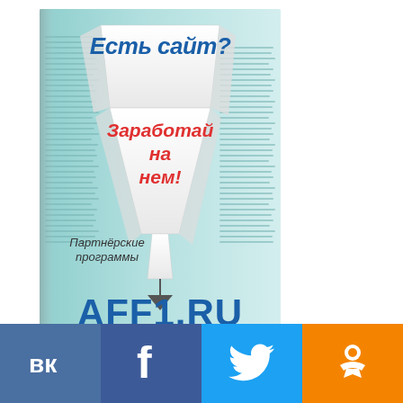[Figure (illustration): Advertisement for AFF1.RU affiliate program. Book-style layout with newspaper background texture in light blue/teal. Bold blue italic text 'Есть сайт?' at top. Large red italic text 'Заработай на нем!' in center on white funnel/triangle shape. Text 'Партнёрские программы' in dark italic below funnel. Large bold blue text 'AFF1.RU' at bottom.]
[Figure (infographic): Social media icons bar at bottom: VK (dark blue), Facebook (blue), Twitter (cyan), Odnoklassniki (orange). Each shows white icon on colored square.]